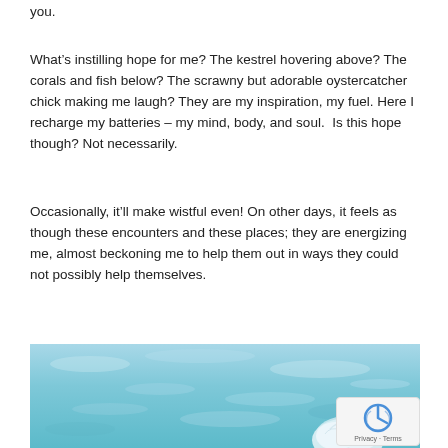you.
What’s instilling hope for me? The kestrel hovering above? The corals and fish below? The scrawny but adorable oystercatcher chick making me laugh? They are my inspiration, my fuel. Here I recharge my batteries – my mind, body, and soul.  Is this hope though? Not necessarily.
Occasionally, it’ll make wistful even! On other days, it feels as though these encounters and these places; they are energizing me, almost beckoning me to help them out in ways they could not possibly help themselves.
[Figure (photo): Underwater photo showing turquoise/teal colored water with sunlight patterns. In the lower right area, a white jellyfish or marine creature is partially visible. The water has a shimmering, dappled light effect.]